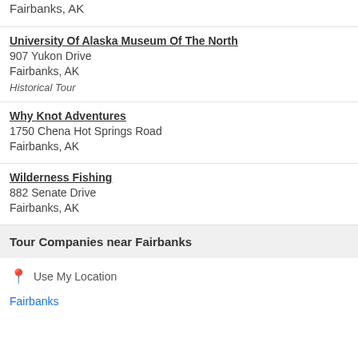Fairbanks, AK
University Of Alaska Museum Of The North
907 Yukon Drive
Fairbanks, AK
Historical Tour
Why Knot Adventures
1750 Chena Hot Springs Road
Fairbanks, AK
Wilderness Fishing
882 Senate Drive
Fairbanks, AK
Tour Companies near Fairbanks
Use My Location
Fairbanks